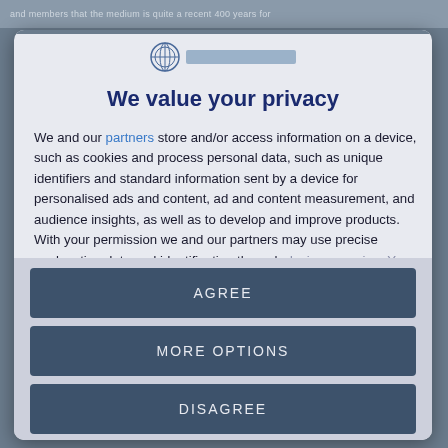...and members that the medium is quite a recent 400 years for...
We value your privacy
We and our partners store and/or access information on a device, such as cookies and process personal data, such as unique identifiers and standard information sent by a device for personalised ads and content, ad and content measurement, and audience insights, as well as to develop and improve products. With your permission we and our partners may use precise geolocation data and identification through device scanning. You may click to consent to our and our partners'
AGREE
MORE OPTIONS
DISAGREE